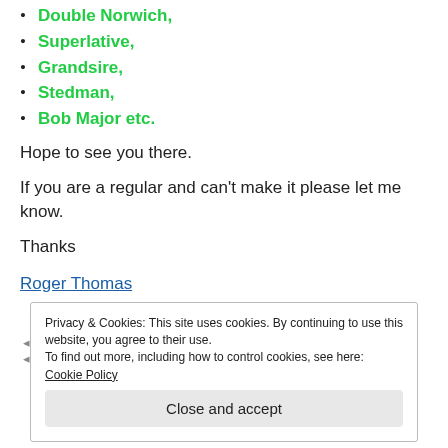Double Norwich,
Superlative,
Grandsire,
Stedman,
Bob Major etc.
Hope to see you there.
If you are a regular and can't make it please let me know.
Thanks
Roger Thomas
Privacy & Cookies: This site uses cookies. By continuing to use this website, you agree to their use.
To find out more, including how to control cookies, see here: Cookie Policy
Close and accept